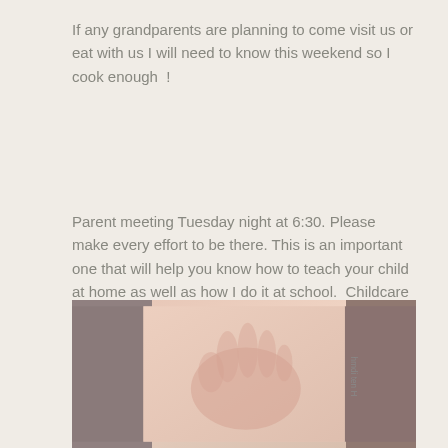If any grandparents are planning to come visit us or eat with us I will need to know this weekend so I cook enough  !
Parent meeting Tuesday night at 6:30. Please make every effort to be there. This is an important one that will help you know how to teach your child at home as well as how I do it at school.  Childcare will be provided FREE  I will just need to know how many children to expect.
[Figure (photo): A photograph showing what appears to be a child's hand or handprint on paper, placed on a carpeted surface. The image has warm pinkish-beige tones with a rotated text visible on the right side.]